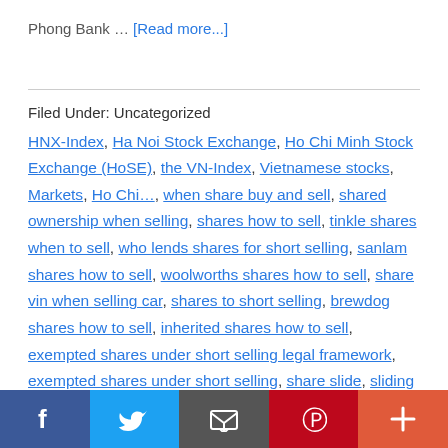Phong Bank … [Read more...]
Filed Under: Uncategorized
HNX-Index, Ha Noi Stock Exchange, Ho Chi Minh Stock Exchange (HoSE), the VN-Index, Vietnamese stocks, Markets, Ho Chi…, when share buy and sell, shared ownership when selling, shares how to sell, tinkle shares when to sell, who lends shares for short selling, sanlam shares how to sell, woolworths shares how to sell, share vin when selling car, shares to short selling, brewdog shares how to sell, inherited shares how to sell, exempted shares under short selling legal framework, exempted shares under short selling, share slide, sliding
Facebook Twitter Email Pinterest More